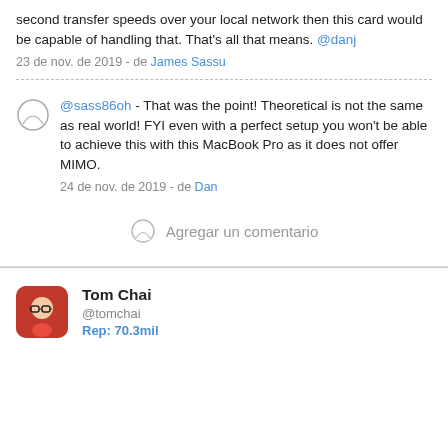second transfer speeds over your local network then this card would be capable of handling that. That's all that means. @danj
23 de nov. de 2019 - de James Sassu
@sass86oh - That was the point! Theoretical is not the same as real world! FYI even with a perfect setup you won't be able to achieve this with this MacBook Pro as it does not offer MIMO.
24 de nov. de 2019 - de Dan
Agregar un comentario
Tom Chai @tomchai Rep: 70.3mil